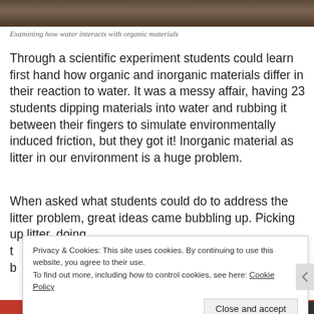[Figure (photo): Top portion of a photo showing organic/natural materials (hair or similar), partially cropped at the top of the page.]
Examining how water interacts with organic materials
Through a scientific experiment students could learn first hand how organic and inorganic materials differ in their reaction to water. It was a messy affair, having 23 students dipping materials into water and rubbing it between their fingers to simulate environmentally induced friction, but they got it! Inorganic material as litter in our environment is a huge problem.
When asked what students could do to address the litter problem, great ideas came bubbling up. Picking up litter, doing t... b...
Privacy & Cookies: This site uses cookies. By continuing to use this website, you agree to their use.
To find out more, including how to control cookies, see here: Cookie Policy

Close and accept